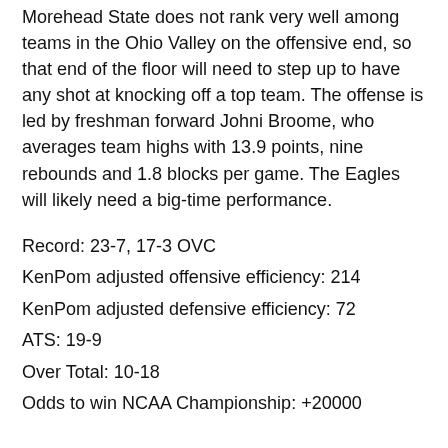Morehead State does not rank very well among teams in the Ohio Valley on the offensive end, so that end of the floor will need to step up to have any shot at knocking off a top team. The offense is led by freshman forward Johni Broome, who averages team highs with 13.9 points, nine rebounds and 1.8 blocks per game. The Eagles will likely need a big-time performance.
Record: 23-7, 17-3 OVC
KenPom adjusted offensive efficiency: 214
KenPom adjusted defensive efficiency: 72
ATS: 19-9
Over Total: 10-18
Odds to win NCAA Championship: +20000